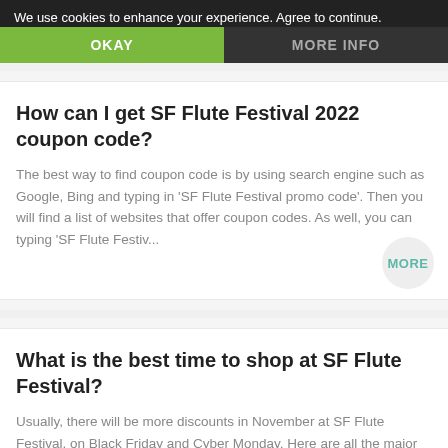We use cookies to enhance your experience. Agree to continue.
×close
OKAY
MORE INFO
How can I get SF Flute Festival 2022 coupon code?
The best way to find coupon code is by using search engine such as Google, Bing and typing in 'SF Flute Festival promo code'. Then you will find a list of websites that offer coupon codes. As well, you can typing 'SF Flute Festiv...
MORE
What is the best time to shop at SF Flute Festival?
Usually, there will be more discounts in November at SF Flute Festival, on Black Friday and Cyber Monday. Here are all the major discounts in 2022, so you can put on your calendar:...
MORE